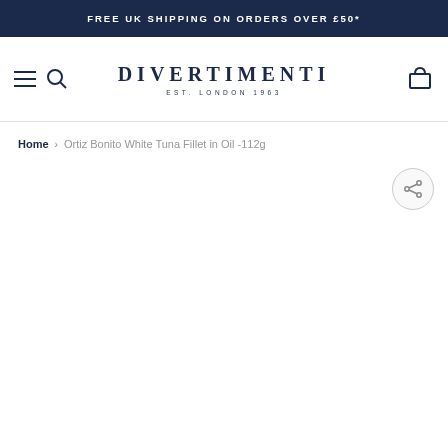FREE UK SHIPPING ON ORDERS OVER £50*
[Figure (logo): Divertimenti logo with text 'DIVERTIMENTI EST. LONDON 1963' in navy blue, with hamburger menu icon, search icon, and shopping bag icon in navigation bar]
Home › Ortiz Bonito White Tuna Fillet in Oil -112g